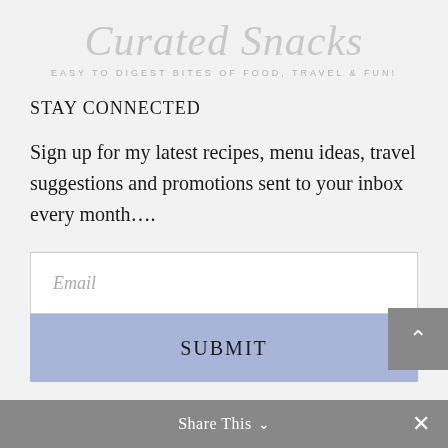Curated Snacks
EASY TO DIGEST BITES OF FOOD, TRAVEL & FUN!
STAY CONNECTED
Sign up for my latest recipes, menu ideas, travel suggestions and promotions sent to your inbox every month….
Email
SUBMIT
Share This ∨  ✕